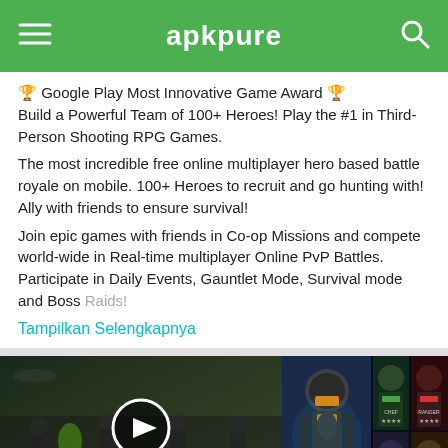apkpure
🏆 Google Play Most Innovative Game Award 🏆
Build a Powerful Team of 100+ Heroes! Play the #1 in Third-Person Shooting RPG Games.

The most incredible free online multiplayer hero based battle royale on mobile. 100+ Heroes to recruit and go hunting with! Ally with friends to ensure survival!

Join epic games with friends in Co-op Missions and compete world-wide in Real-time multiplayer Online PvP Battles.
Participate in Daily Events, Gauntlet Mode, Survival mode and Boss Raids!
Tampilkan Selengkapnya
[Figure (screenshot): Hero Hunters game video thumbnail with play button overlay]
[Figure (screenshot): Hero Hunters heroes showcase grid screenshot]